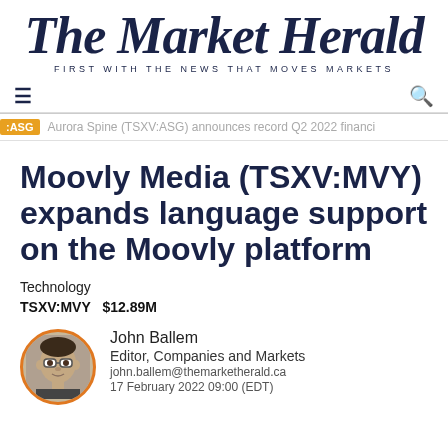The Market Herald — FIRST WITH THE NEWS THAT MOVES MARKETS
Aurora Spine (TSXV:ASG) announces record Q2 2022 financi
Moovly Media (TSXV:MVY) expands language support on the Moovly platform
Technology
TSXV:MVY   $12.89M
John Ballem
Editor, Companies and Markets
john.ballem@themarketherald.ca
17 February 2022 09:00 (EDT)